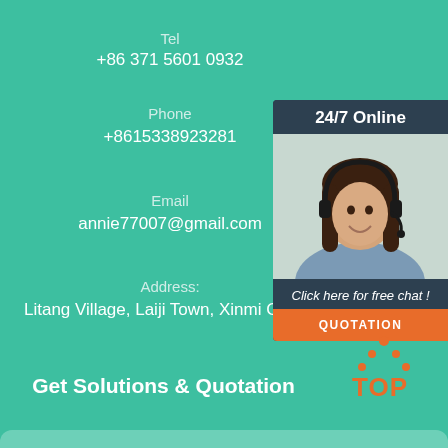Tel
+86 371 5601 0932
Phone
+8615338923281
Email
annie77007@gmail.com
Address:
Litang Village, Laiji Town, Xinmi City, C
[Figure (photo): Customer service representative with headset, 24/7 Online chat widget with QUOTATION button]
Get Solutions & Quotation